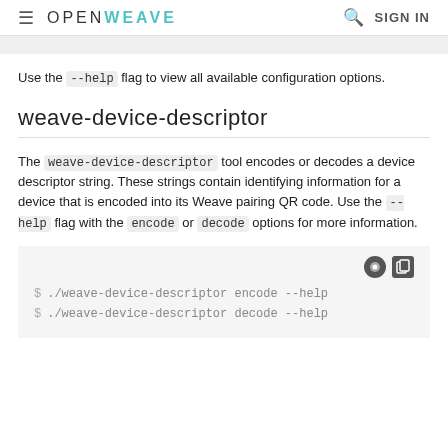≡  OPENWEAVE  🔍  SIGN IN
Use the --help flag to view all available configuration options.
weave-device-descriptor
The weave-device-descriptor tool encodes or decodes a device descriptor string. These strings contain identifying information for a device that is encoded into its Weave pairing QR code. Use the --help flag with the encode or decode options for more information.
$ ./weave-device-descriptor encode --help
$ ./weave-device-descriptor decode --help